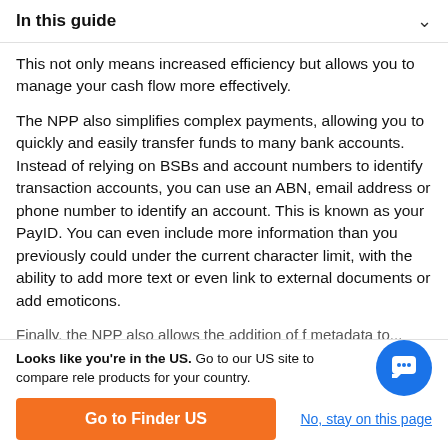In this guide
This not only means increased efficiency but allows you to manage your cash flow more effectively.
The NPP also simplifies complex payments, allowing you to quickly and easily transfer funds to many bank accounts. Instead of relying on BSBs and account numbers to identify transaction accounts, you can use an ABN, email address or phone number to identify an account. This is known as your PayID. You can even include more information than you previously could under the current character limit, with the ability to add more text or even link to external documents or add emoticons.
Finally, the NPP also allows the addition of metadata to...
Looks like you're in the US. Go to our US site to compare rele products for your country.
Go to Finder US
No, stay on this page